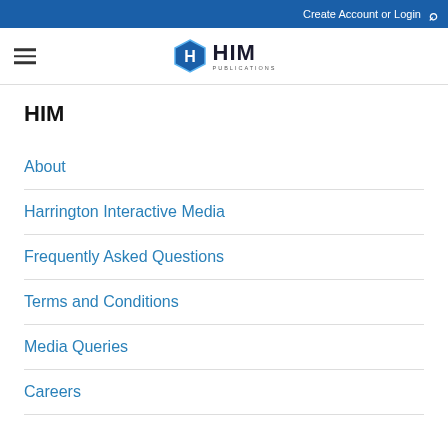Create Account or Login
[Figure (logo): HIM Publications logo with blue hexagon icon and HIM text]
HIM
About
Harrington Interactive Media
Frequently Asked Questions
Terms and Conditions
Media Queries
Careers